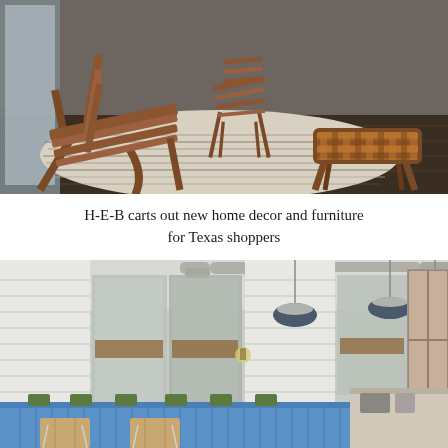[Figure (photo): Interior room with mid-century modern wooden lounge chairs and a woven leather ottoman/stool on a striped area rug, dark hardwood floor in background.]
H-E-B carts out new home decor and furniture for Texas shoppers
[Figure (photo): Modern restaurant interior with light blue upholstered booth seating, wooden tables, large mirrors on white shiplap walls, industrial pendant lights, and exposed ductwork on ceiling.]